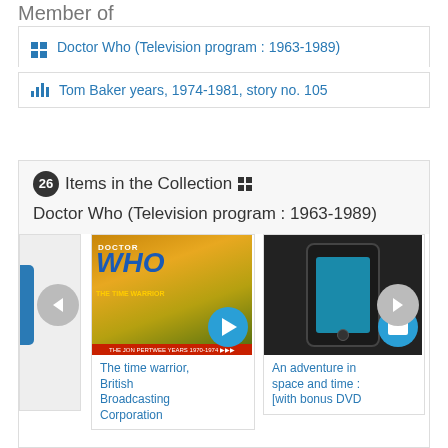Member of
Doctor Who (Television program : 1963-1989)
Tom Baker years, 1974-1981, story no. 105
</> Embed
26 Items in the Collection Doctor Who (Television program : 1963-1989)
[Figure (screenshot): Carousel of collection items showing two cards: 'The time warrior, British Broadcasting Corporation' and 'An adventure in space and time : [with bonus DVD…'. Left and right navigation arrows visible.]